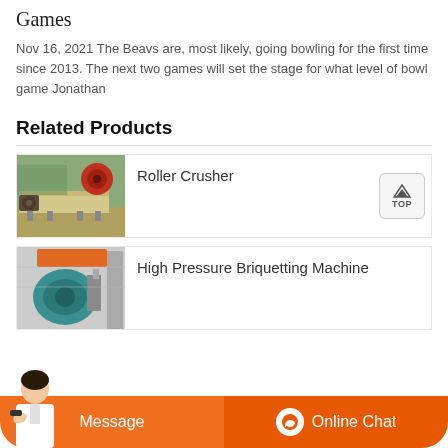Games
Nov 16, 2021 The Beavs are, most likely, going bowling for the first time since 2013. The next two games will set the stage for what level of bowl game Jonathan
Related Products
[Figure (photo): Photo of industrial roller crusher machine on a flatbed, viewed from outdoor setting with trees in background]
Roller Crusher
[Figure (photo): Photo of high pressure briquetting machine in industrial setting, green/teal machine visible]
High Pressure Briquetting Machine